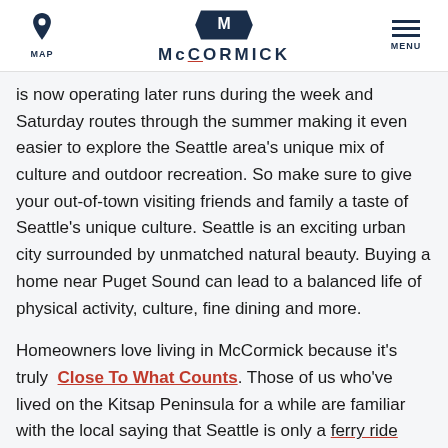MAP | McCORMICK | MENU
is now operating later runs during the week and Saturday routes through the summer making it even easier to explore the Seattle area's unique mix of culture and outdoor recreation. So make sure to give your out-of-town visiting friends and family a taste of Seattle's unique culture. Seattle is an exciting urban city surrounded by unmatched natural beauty. Buying a home near Puget Sound can lead to a balanced life of physical activity, culture, fine dining and more.
Homeowners love living in McCormick because it's truly Close To What Counts. Those of us who've lived on the Kitsap Peninsula for a while are familiar with the local saying that Seattle is only a ferry ride away. We don't make it a secret that we have the best of two